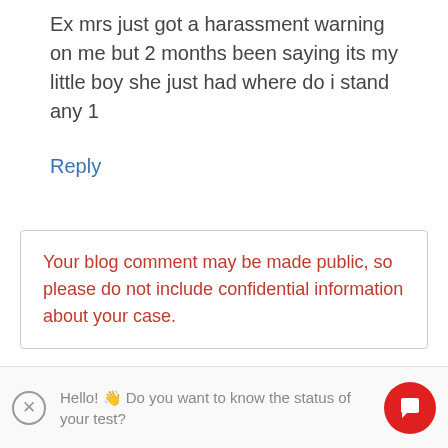Ex mrs just got a harassment warning on me but 2 months been saying its my little boy she just had where do i stand any 1
Reply
Your blog comment may be made public, so please do not include confidential information about your case.
Leave a Reply to LISA Cancel reply
Hello! 👋 Do you want to know the status of your test?